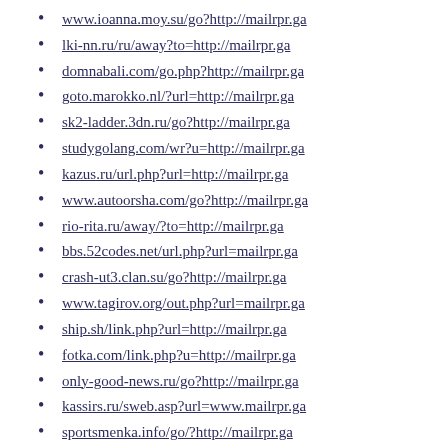www.ioanna.moy.su/go?http://mailrpr.ga
lki-nn.ru/ru/away?to=http://mailrpr.ga
domnabali.com/go.php?http://mailrpr.ga
goto.marokko.nl/?url=http://mailrpr.ga
sk2-ladder.3dn.ru/go?http://mailrpr.ga
studygolang.com/wr?u=http://mailrpr.ga
kazus.ru/url.php?url=http://mailrpr.ga
www.autoorsha.com/go?http://mailrpr.ga
rio-rita.ru/away/?to=http://mailrpr.ga
bbs.52codes.net/url.php?url=mailrpr.ga
crash-ut3.clan.su/go?http://mailrpr.ga
www.tagirov.org/out.php?url=mailrpr.ga
ship.sh/link.php?url=http://mailrpr.ga
fotka.com/link.php?u=http://mailrpr.ga
only-good-news.ru/go?http://mailrpr.ga
kassirs.ru/sweb.asp?url=www.mailrpr.ga
sportsmenka.info/go/?http://mailrpr.ga
dddso.com/go.php?url=http://mailrpr.ga
lens-club.ru/link?go=http://mailrpr.ga